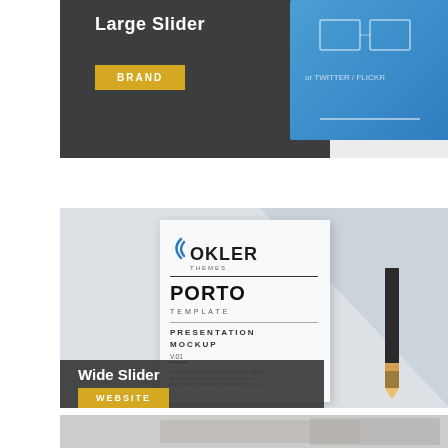[Figure (screenshot): Top partial banner showing 'Large Slider' text on dark background with BRAND button and blue card element]
[Figure (screenshot): Middle banner showing Okler Themes Porto Template presentation mockup with pencil, labeled 'Wide Slider' with WEBSITE button]
[Figure (photo): Bottom partially visible banner strip showing a photo]